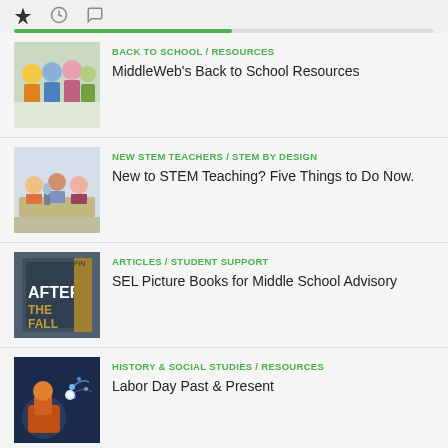[Figure (screenshot): Top navigation bar with bookmark, clock, and chat icons, and a green progress bar below]
BACK TO SCHOOL / RESOURCES — MiddleWeb's Back to School Resources
NEW STEM TEACHERS / STEM BY DESIGN — New to STEM Teaching? Five Things to Do Now.
ARTICLES / STUDENT SUPPORT — SEL Picture Books for Middle School Advisory
HISTORY & SOCIAL STUDIES / RESOURCES — Labor Day Past & Present